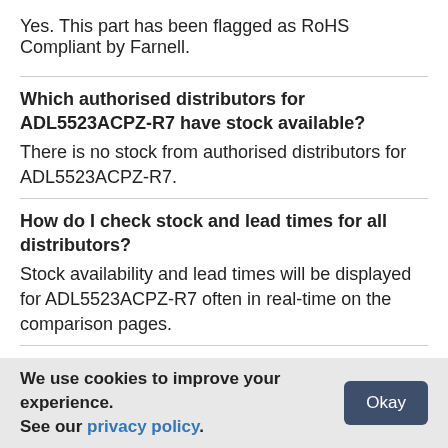Yes. This part has been flagged as RoHS Compliant by Farnell.
Which authorised distributors for ADL5523ACPZ-R7 have stock available?
There is no stock from authorised distributors for ADL5523ACPZ-R7.
How do I check stock and lead times for all distributors?
Stock availability and lead times will be displayed for ADL5523ACPZ-R7 often in real-time on the comparison pages.
What if I can't find stock of ADL5523ACPZ-R7?
We use cookies to improve your experience. See our privacy policy.